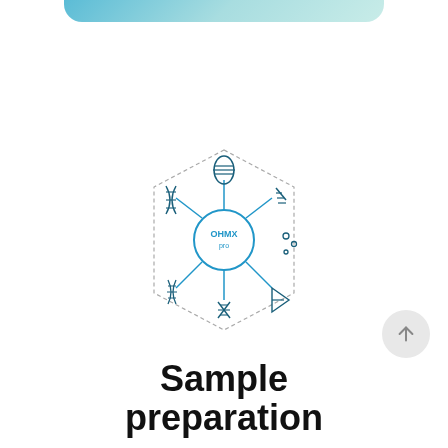[Figure (illustration): Gradient teal/blue rounded header bar at the top of the page]
[Figure (schematic): OHMX logo diagram: a central circle labeled OHMX with spokes connecting to surrounding icons representing genomics (DNA helix), proteomics, metabolomics (dots/particles), transcriptomics (DNA), and other omics modalities, arranged in a hexagonal dotted-border layout]
Sample preparation